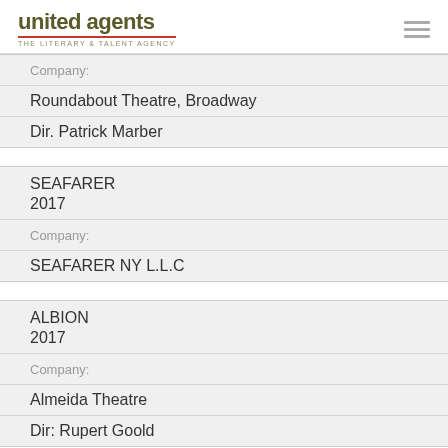united agents THE LITERARY & TALENT AGENCY
Company:
Roundabout Theatre, Broadway
Dir. Patrick Marber
SEAFARER
2017
Company:
SEAFARER NY L.L.C
ALBION
2017
Company:
Almeida Theatre
Dir: Rupert Goold
LABOUR OF LOVE